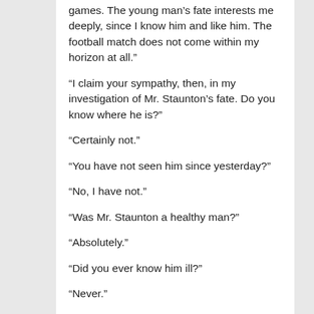games. The young man’s fate interests me deeply, since I know him and like him. The football match does not come within my horizon at all."
"I claim your sympathy, then, in my investigation of Mr. Staunton’s fate. Do you know where he is?"
"Certainly not."
"You have not seen him since yesterday?"
"No, I have not."
"Was Mr. Staunton a healthy man?"
"Absolutely."
"Did you ever know him ill?"
"Never."
Holmes popped a sheet of paper